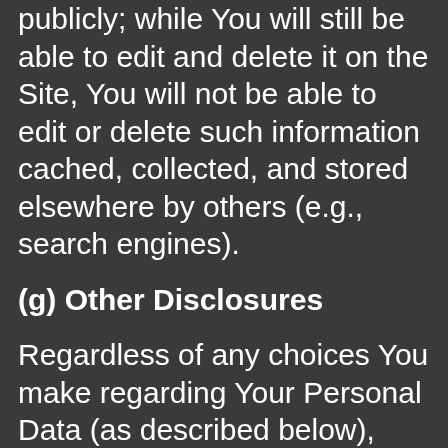publicly; while You will still be able to edit and delete it on the Site, You will not be able to edit or delete such information cached, collected, and stored elsewhere by others (e.g., search engines).
(g) Other Disclosures
Regardless of any choices You make regarding Your Personal Data (as described below), VITAMINBENEFIT456.BLOGSPOT.COM may disclose Personal Data if it believes in good faith that such disclosure is necessary (a) in connection with any legal investigation; (b) to comply with